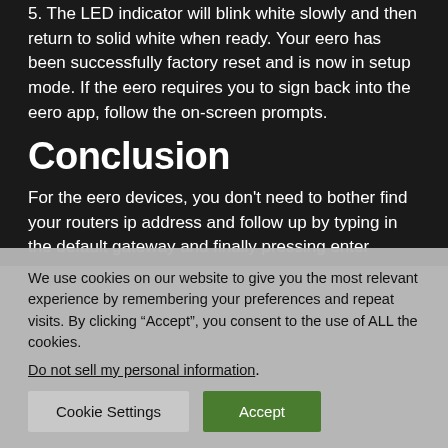5. The LED indicator will blink white slowly and then return to solid white when ready. Your eero has been successfully factory reset and is now in setup mode. If the eero requires you to sign back into the eero app, follow the on-screen prompts.
Conclusion
For the eero devices, you don't need to bother find your routers ip address and follow up by typing in the default gateway and finally pressing enter
We use cookies on our website to give you the most relevant experience by remembering your preferences and repeat visits. By clicking “Accept”, you consent to the use of ALL the cookies.
Do not sell my personal information.